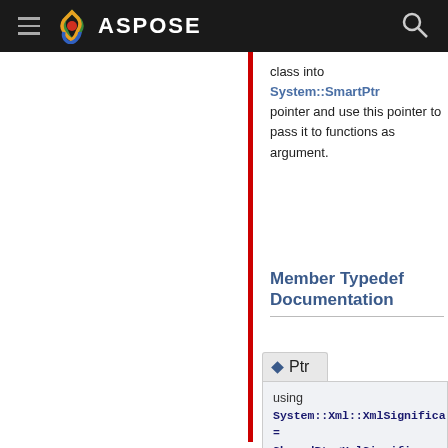ASPOSE
class into System::SmartPtr pointer and use this pointer to pass it to functions as argument.
Member Typedef Documentation
◆ Ptr
using System::Xml::XmlSignifica
= SharedPtr<XmlSignificar